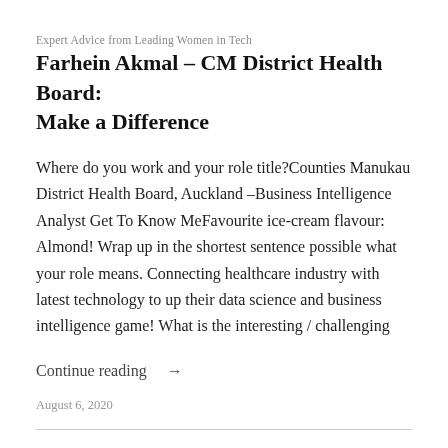Expert Advice from Leading Women in Tech
Farhein Akmal – CM District Health Board: Make a Difference
Where do you work and your role title?Counties Manukau District Health Board, Auckland –Business Intelligence Analyst Get To Know MeFavourite ice-cream flavour: Almond! Wrap up in the shortest sentence possible what your role means. Connecting healthcare industry with latest technology to up their data science and business intelligence game! What is the interesting / challenging
Continue reading →
August 6, 2020